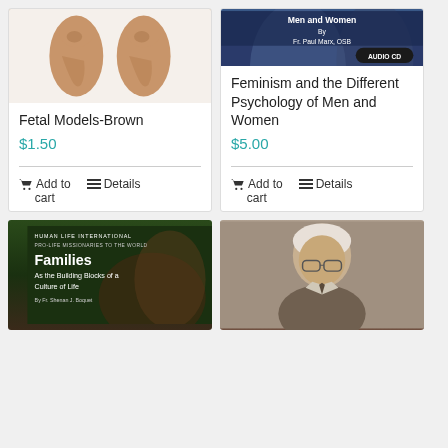[Figure (photo): Two brown fetal model figurines side by side on white background]
Fetal Models-Brown
$1.50
Add to cart   Details
[Figure (photo): Book cover: Feminism and the Different Psychology of Men and Women by Fr. Paul Marx, OSB - Audio CD]
Feminism and the Different Psychology of Men and Women
$5.00
Add to cart   Details
[Figure (photo): Human Life International Pro-Life Missionaries to the World: Families As the Building Blocks of a Culture of Life by Fr. Shenan J. Boquet]
[Figure (photo): Black and white portrait photo of an elderly man with glasses and white hair]